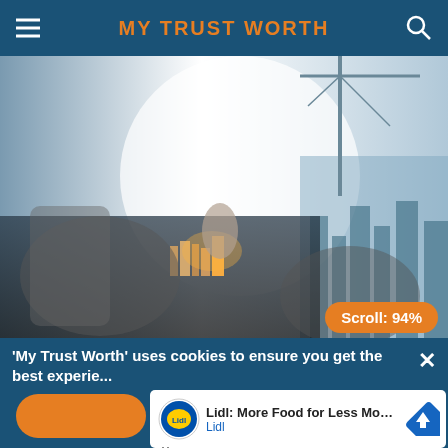MY TRUST WORTH
[Figure (photo): Double exposure photo of a hand touching a miniature city skyline on a digital tablet/surface, with construction cranes visible in the background against a bright sky]
Scroll: 94%
'My Trust Worth' uses cookies to ensure you get the best experie...
[Figure (screenshot): Advertisement: Lidl logo with text 'Lidl: More Food for Less Money' and 'Lidl' subtitle, with a navigation/directions blue diamond icon]